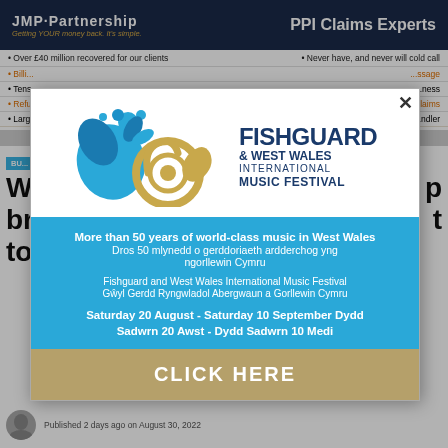JMP Partnership | PPI Claims Experts | Getting YOUR money back. It's simple.
• Over £40 million recovered for our clients
• Never have, and never will cold call
[Figure (illustration): Fishguard & West Wales International Music Festival popup advertisement with blue decorative graphic, French horn, logo, bilingual text in English and Welsh, event dates Saturday 20 August - Saturday 10 September, and a gold CLICK HERE call-to-action button.]
We... p br... t to Cross hands
Published 2 days ago on August 30, 2022